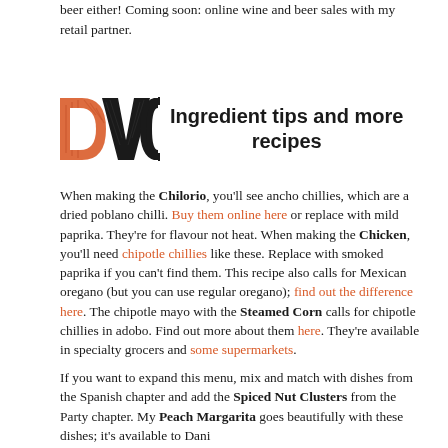beer either! Coming soon: online wine and beer sales with my retail partner.
[Figure (logo): DVC logo with stylized letters in orange/red and black, followed by heading 'Ingredient tips and more recipes']
Ingredient tips and more recipes
When making the Chilorio, you'll see ancho chillies, which are a dried poblano chilli. Buy them online here or replace with mild paprika. They're for flavour not heat. When making the Chicken, you'll need chipotle chillies like these. Replace with smoked paprika if you can't find them. This recipe also calls for Mexican oregano (but you can use regular oregano); find out the difference here. The chipotle mayo with the Steamed Corn calls for chipotle chillies in adobo. Find out more about them here. They're available in specialty grocers and some supermarkets.
If you want to expand this menu, mix and match with dishes from the Spanish chapter and add the Spiced Nut Clusters from the Party chapter. My Peach Margarita goes beautifully with these dishes; it's available to Dani